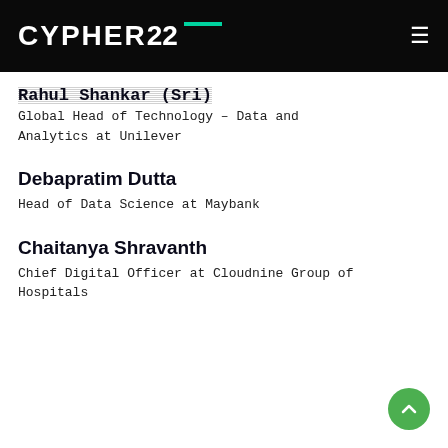CYPHER22
Rahul Shankar (Sri)
Global Head of Technology – Data and Analytics at Unilever
Debapratim Dutta
Head of Data Science at Maybank
Chaitanya Shravanth
Chief Digital Officer at Cloudnine Group of Hospitals